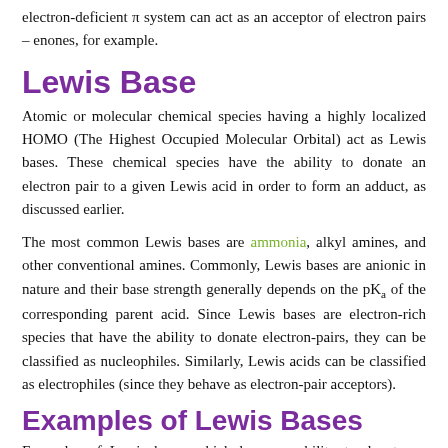electron-deficient π system can act as an acceptor of electron pairs – enones, for example.
Lewis Base
Atomic or molecular chemical species having a highly localized HOMO (The Highest Occupied Molecular Orbital) act as Lewis bases. These chemical species have the ability to donate an electron pair to a given Lewis acid in order to form an adduct, as discussed earlier.
The most common Lewis bases are ammonia, alkyl amines, and other conventional amines. Commonly, Lewis bases are anionic in nature and their base strength generally depends on the pKa of the corresponding parent acid. Since Lewis bases are electron-rich species that have the ability to donate electron-pairs, they can be classified as nucleophiles. Similarly, Lewis acids can be classified as electrophiles (since they behave as electron-pair acceptors).
Examples of Lewis Bases
Examples of Lewis bases which have an ability to donate an electron pair are listed below.